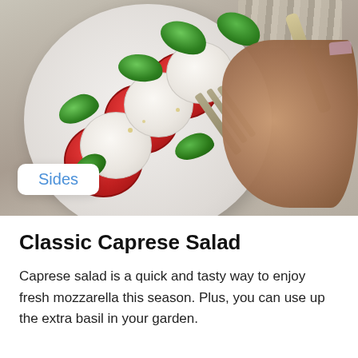[Figure (photo): A caprese salad on a white plate with alternating tomato and mozzarella slices, fresh basil leaves, drizzled with olive oil. A hand holds a fork picking up a piece. A white badge with 'Sides' in blue text overlays the bottom left of the image.]
Classic Caprese Salad
Caprese salad is a quick and tasty way to enjoy fresh mozzarella this season. Plus, you can use up the extra basil in your garden.